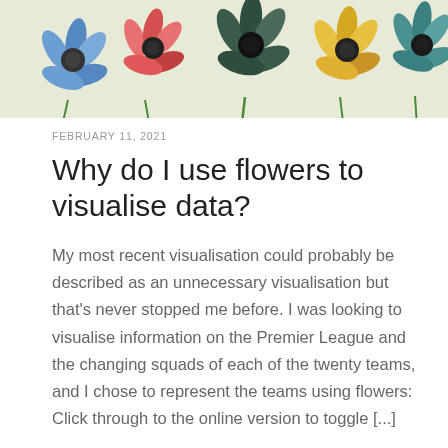[Figure (illustration): Decorative banner with illustrated flowers (blue, pink, red, dark, yellow, blue/green petals) on a light green/beige background]
FEBRUARY 11, 2021
Why do I use flowers to visualise data?
My most recent visualisation could probably be described as an unnecessary visualisation but that's never stopped me before. I was looking to visualise information on the Premier League and the changing squads of each of the twenty teams, and I chose to represent the teams using flowers: Click through to the online version to toggle [...]
Continue Reading